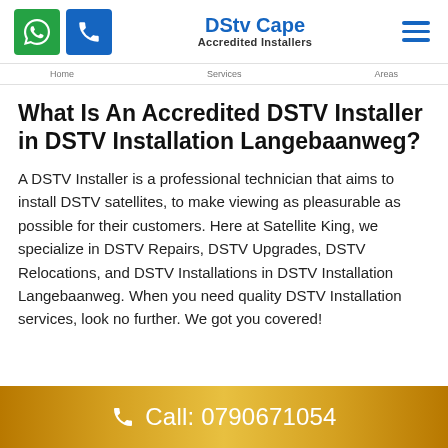DStv Cape Accredited Installers
What Is An Accredited DSTV Installer in DSTV Installation Langebaanweg?
A DSTV Installer is a professional technician that aims to install DSTV satellites, to make viewing as pleasurable as possible for their customers. Here at Satellite King, we specialize in DSTV Repairs, DSTV Upgrades, DSTV Relocations, and DSTV Installations in DSTV Installation Langebaanweg. When you need quality DSTV Installation services, look no further. We got you covered!
Call: 0790671054